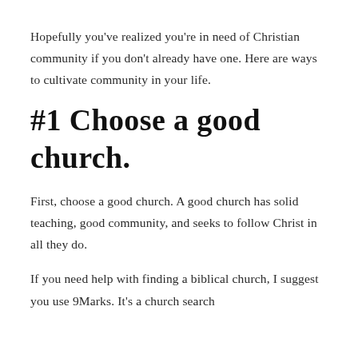Hopefully you've realized you're in need of Christian community if you don't already have one. Here are ways to cultivate community in your life.
#1 Choose a good church.
First, choose a good church. A good church has solid teaching, good community, and seeks to follow Christ in all they do.
If you need help with finding a biblical church, I suggest you use 9Marks. It's a church search